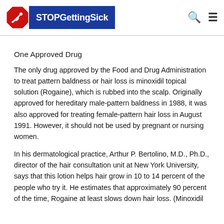STOPGettingSick
One Approved Drug
The only drug approved by the Food and Drug Administration to treat pattern baldness or hair loss is minoxidil topical solution (Rogaine), which is rubbed into the scalp. Originally approved for hereditary male-pattern baldness in 1988, it was also approved for treating female-pattern hair loss in August 1991. However, it should not be used by pregnant or nursing women.
In his dermatological practice, Arthur P. Bertolino, M.D., Ph.D., director of the hair consultation unit at New York University, says that this lotion helps hair grow in 10 to 14 percent of the people who try it. He estimates that approximately 90 percent of the time, Rogaine at least slows down hair loss. (Minoxidil